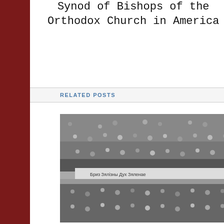Synod of Bishops of the Orthodox Church in America
Ecumenical Patriarch Bartholomew to the United States
RELATED POSTS
[Figure (photo): Black and white photograph of a large crowd of people gathered, possibly at a stadium or large venue, with a banner visible in the middle of the crowd.]
AUGUST 30, 2022   6
Read and Sign: A Declaration for Orthodox Christian Unity in America